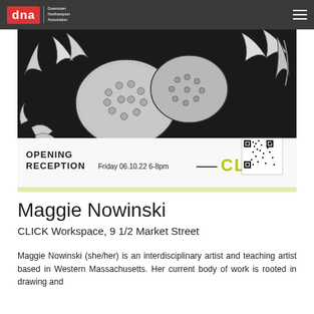dna | Downtown Northampton Association
[Figure (illustration): Event poster for Maggie Nowinski at CLICK Workspace. Black and white intricate illustration of a gecko/lizard surrounded by floral and botanical elements. Bottom section shows text: OPENING RECEPTION Friday 06.10.22 6-8pm CLICK (in yellow-green). QR code in bottom right corner.]
Maggie Nowinski
CLICK Workspace, 9 1/2 Market Street
Maggie Nowinski (she/her) is an interdisciplinary artist and teaching artist based in Western Massachusetts. Her current body of work is rooted in drawing and